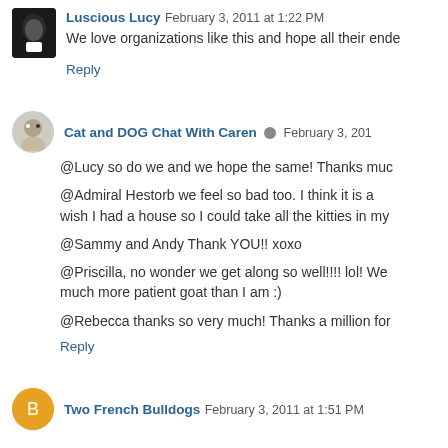Luscious Lucy February 3, 2011 at 1:22 PM
We love organizations like this and hope all their ende...
Reply
Cat and DOG Chat With Caren February 3, 201...
@Lucy so do we and we hope the same! Thanks muc...
@Admiral Hestorb we feel so bad too. I think it is a... wish I had a house so I could take all the kitties in my...
@Sammy and Andy Thank YOU!! xoxo
@Priscilla, no wonder we get along so well!!!! lol! We... much more patient goat than I am :)
@Rebecca thanks so very much! Thanks a million for ...
Reply
Two French Bulldogs February 3, 2011 at 1:51 PM